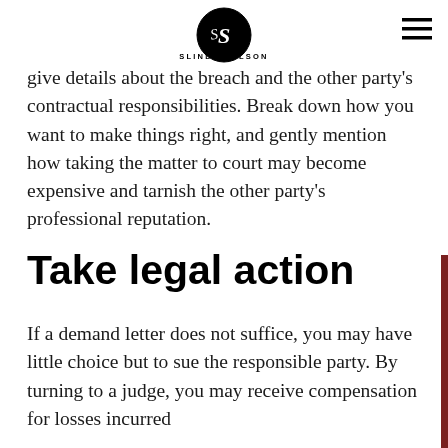SLINDE NELSON
give details about the breach and the other party's contractual responsibilities. Break down how you want to make things right, and gently mention how taking the matter to court may become expensive and tarnish the other party's professional reputation.
Take legal action
If a demand letter does not suffice, you may have little choice but to sue the responsible party. By turning to a judge, you may receive compensation for losses incurred